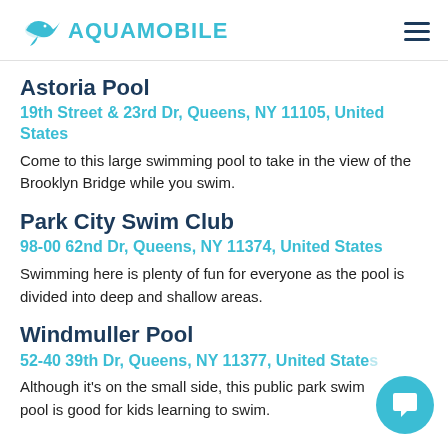AQUAMOBILE
Astoria Pool
19th Street & 23rd Dr, Queens, NY 11105, United States
Come to this large swimming pool to take in the view of the Brooklyn Bridge while you swim.
Park City Swim Club
98-00 62nd Dr, Queens, NY 11374, United States
Swimming here is plenty of fun for everyone as the pool is divided into deep and shallow areas.
Windmuller Pool
52-40 39th Dr, Queens, NY 11377, United States
Although it's on the small side, this public park swimming pool is good for kids learning to swim.